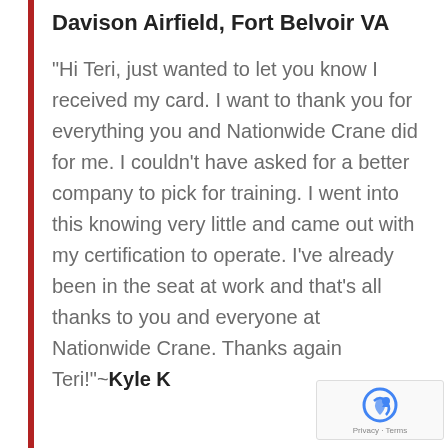Davison Airfield, Fort Belvoir VA
“Hi Teri, just wanted to let you know I received my card. I want to thank you for everything you and Nationwide Crane did for me. I couldn’t have asked for a better company to pick for training. I went into this knowing very little and came out with my certification to operate. I’ve already been in the seat at work and that’s all thanks to you and everyone at Nationwide Crane. Thanks again Teri!”~Kyle K